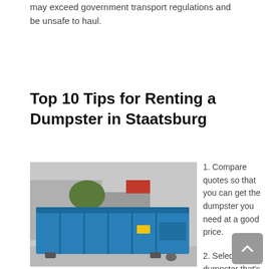may exceed government transport regulations and be unsafe to haul.
Top 10 Tips for Renting a Dumpster in Staatsburg
[Figure (photo): A large blue roll-off dumpster parked on a street with trees and buildings in the background.]
1. Compare quotes so that you can get the dumpster you need at a good price.
2. Select a dumpster that's big enough for the planned job.
3. Locate a rental company in your vicinity will